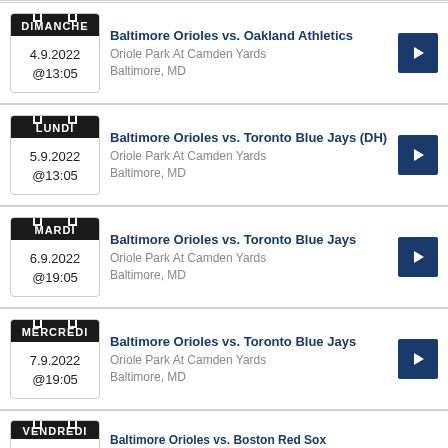DIMANCHE 4.9.2022 @13:05 — Baltimore Orioles vs. Oakland Athletics — Oriole Park At Camden Yards, Baltimore, MD
LUNDI 5.9.2022 @13:05 — Baltimore Orioles vs. Toronto Blue Jays (DH) — Oriole Park At Camden Yards, Baltimore, MD
MARDI 6.9.2022 @19:05 — Baltimore Orioles vs. Toronto Blue Jays — Oriole Park At Camden Yards, Baltimore, MD
MERCREDI 7.9.2022 @19:05 — Baltimore Orioles vs. Toronto Blue Jays — Oriole Park At Camden Yards, Baltimore, MD
VENDREDI — Baltimore Orioles vs. Boston Red Sox